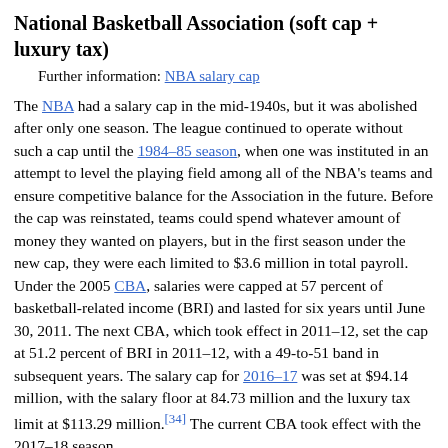National Basketball Association (soft cap + luxury tax)
Further information: NBA salary cap
The NBA had a salary cap in the mid-1940s, but it was abolished after only one season. The league continued to operate without such a cap until the 1984–85 season, when one was instituted in an attempt to level the playing field among all of the NBA's teams and ensure competitive balance for the Association in the future. Before the cap was reinstated, teams could spend whatever amount of money they wanted on players, but in the first season under the new cap, they were each limited to $3.6 million in total payroll. Under the 2005 CBA, salaries were capped at 57 percent of basketball-related income (BRI) and lasted for six years until June 30, 2011. The next CBA, which took effect in 2011–12, set the cap at 51.2 percent of BRI in 2011–12, with a 49-to-51 band in subsequent years. The salary cap for 2016–17 was set at $94.14 million, with the salary floor at 84.73 million and the luxury tax limit at $113.29 million.[34] The current CBA took effect with the 2017–18 season.
The NBA uses a "soft" cap, meaning that teams were allowed to exceed the cap in order to retain the rights to a player who was